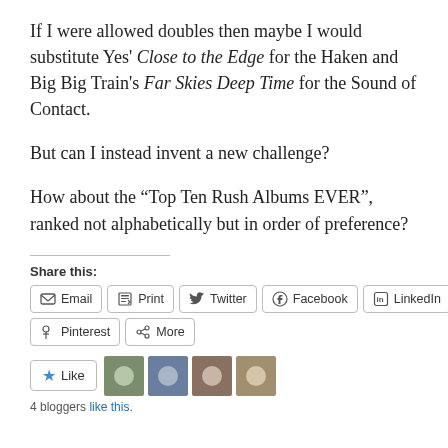If I were allowed doubles then maybe I would substitute Yes' Close to the Edge for the Haken and Big Big Train's Far Skies Deep Time for the Sound of Contact.
But can I instead invent a new challenge?
How about the “Top Ten Rush Albums EVER”, ranked not alphabetically but in order of preference?
Share this:
Email  Print  Twitter  Facebook  LinkedIn  Pinterest  More
Like
4 bloggers like this.